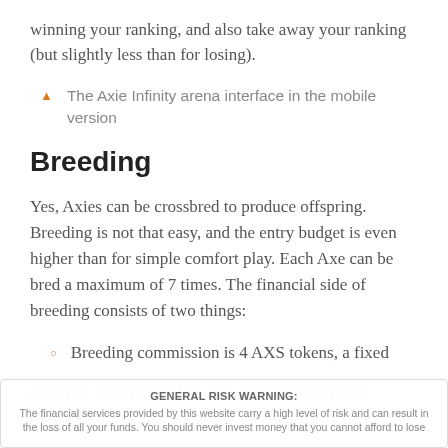winning your ranking, and also take away your ranking (but slightly less than for losing).
The Axie Infinity arena interface in the mobile version
Breeding
Yes, Axies can be crossbred to produce offspring. Breeding is not that easy, and the entry budget is even higher than for simple comfort play. Each Axe can be bred a maximum of 7 times. The financial side of breeding consists of two things:
Breeding commission is 4 AXS tokens, a fixed
amount that is sent to the Axie Community treasury
GENERAL RISK WARNING: The financial services provided by this website carry a high level of risk and can result in the loss of all your funds. You should never invest money that you cannot afford to lose